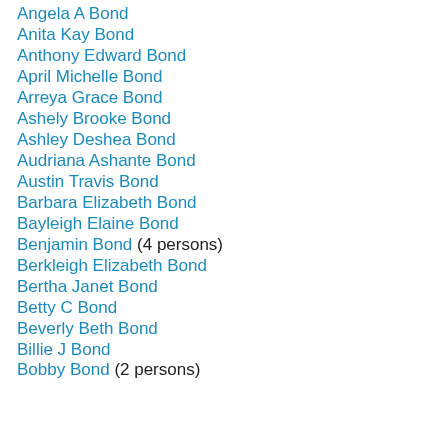Angela A Bond
Anita Kay Bond
Anthony Edward Bond
April Michelle Bond
Arreya Grace Bond
Ashely Brooke Bond
Ashley Deshea Bond
Audriana Ashante Bond
Austin Travis Bond
Barbara Elizabeth Bond
Bayleigh Elaine Bond
Benjamin Bond (4 persons)
Berkleigh Elizabeth Bond
Bertha Janet Bond
Betty C Bond
Beverly Beth Bond
Billie J Bond
Bobby Bond (2 persons)